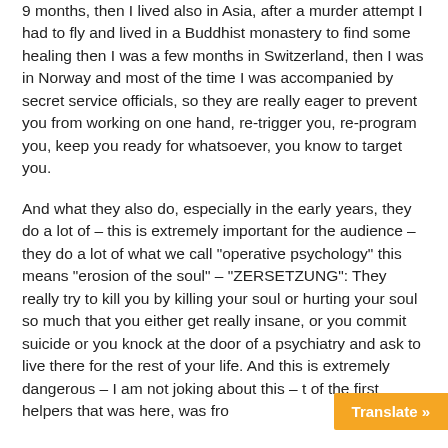9 months, then I lived also in Asia, after a murder attempt I had to fly and lived in a Buddhist monastery to find some healing then I was a few months in Switzerland, then I was in Norway and most of the time I was accompanied by secret service officials, so they are really eager to prevent you from working on one hand, re-trigger you, re-program you, keep you ready for whatsoever, you know to target you.
And what they also do, especially in the early years, they do a lot of – this is extremely important for the audience – they do a lot of what we call "operative psychology" this means "erosion of the soul" – "ZERSETZUNG": They really try to kill you by killing your soul or hurting your soul so much that you either get really insane, or you commit suicide or you knock at the door of a psychiatry and ask to live there for the rest of your life. And this is extremely dangerous – I am not joking about this – t of the first helpers that was here, was fro